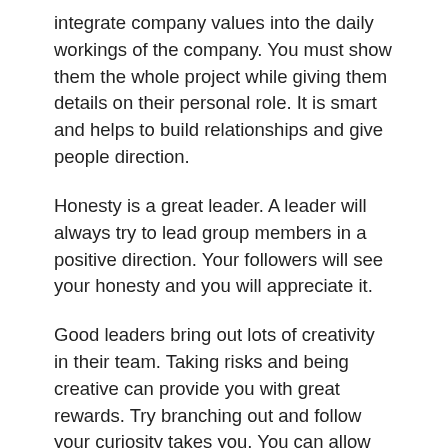integrate company values into the daily workings of the company. You must show them the whole project while giving them details on their personal role. It is smart and helps to build relationships and give people direction.
Honesty is a great leader. A leader will always try to lead group members in a positive direction. Your followers will see your honesty and you will appreciate it.
Good leaders bring out lots of creativity in their team. Taking risks and being creative can provide you with great rewards. Try branching out and follow your curiosity takes you. You can allow other people to work on their own ideas within the context of the whole thing.
Do not assume that workers are able to read your mind. Communicate exactly how you want a task to be completed, when you want it completed, and by what